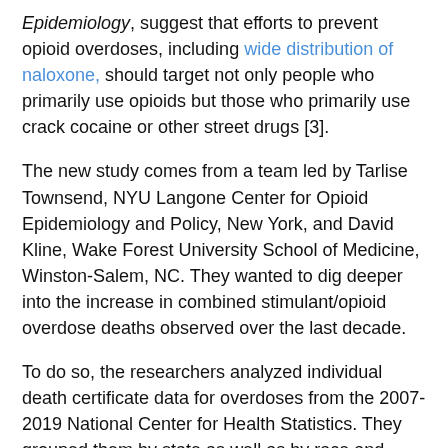Epidemiology, suggest that efforts to prevent opioid overdoses, including wide distribution of naloxone, should target not only people who primarily use opioids but those who primarily use crack cocaine or other street drugs [3].
The new study comes from a team led by Tarlise Townsend, NYU Langone Center for Opioid Epidemiology and Policy, New York, and David Kline, Wake Forest University School of Medicine, Winston-Salem, NC. They wanted to dig deeper into the increase in combined stimulant/opioid overdose deaths observed over the last decade.
To do so, the researchers analyzed individual death certificate data for overdoses from the 2007-2019 National Center for Health Statistics. They grouped them by state as well as by race and ethnicity (non-Hispanic white, non-Hispanic Black, Hispanic, and non-Hispanic Asian American/Pacific Islander). They also analyzed separately deaths from opioids in combination with cocaine and those involving methamphetamine and other stimulants (MOS).